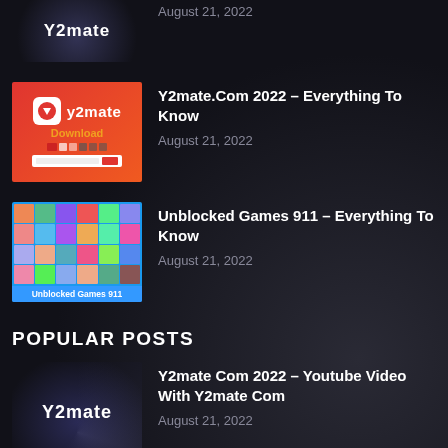[Figure (screenshot): Partial top thumbnail showing dark swirl background with Y2mate text, cropped at top of page]
August 21, 2022
[Figure (screenshot): Y2mate app download page thumbnail - red/orange background with y2mate logo and Download text]
Y2mate.Com 2022 – Everything To Know
August 21, 2022
[Figure (screenshot): Unblocked Games 911 thumbnail - blue background with game icons grid and Unblocked Games 911 label at bottom]
Unblocked Games 911 – Everything To Know
August 21, 2022
POPULAR POSTS
[Figure (screenshot): Y2mate dark swirl background thumbnail with Y2mate text in white]
Y2mate Com 2022 – Youtube Video With Y2mate Com
August 21, 2022